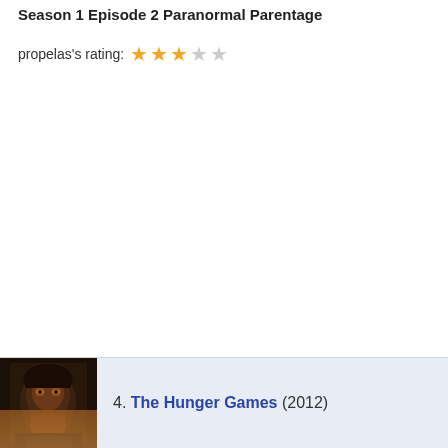Season 1 Episode 2 Paranormal Parentage
propelas's rating: ★★★☆☆
[Figure (photo): Movie poster thumbnail for The Hunger Games (2012) showing a dark-toned face]
4. The Hunger Games (2012)